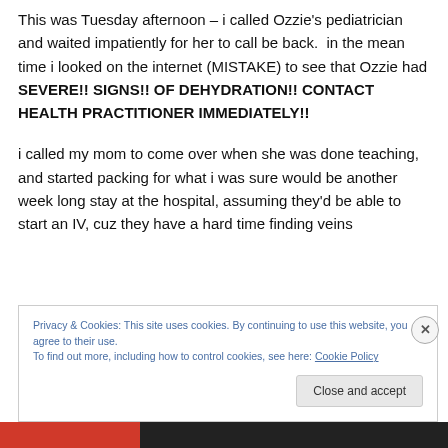This was Tuesday afternoon – i called Ozzie's pediatrician and waited impatiently for her to call be back.  in the mean time i looked on the internet (MISTAKE) to see that Ozzie had SEVERE!! SIGNS!! OF DEHYDRATION!! CONTACT HEALTH PRACTITIONER IMMEDIATELY!!
i called my mom to come over when she was done teaching, and started packing for what i was sure would be another week long stay at the hospital, assuming they'd be able to start an IV, cuz they have a hard time finding veins
Privacy & Cookies: This site uses cookies. By continuing to use this website, you agree to their use.
To find out more, including how to control cookies, see here: Cookie Policy